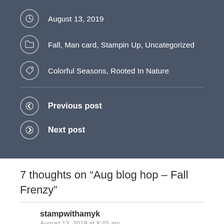August 13, 2019
Fall, Man card, Stampin Up, Uncategorized
Colorful Seasons, Rooted In Nature
Previous post
Next post
7 thoughts on “Aug blog hop – Fall Frenzy”
stampwithamyk
August 13, 2019 at 8:45 am
Beautiful fall leaves Terry Lynn! Love the die cut branch